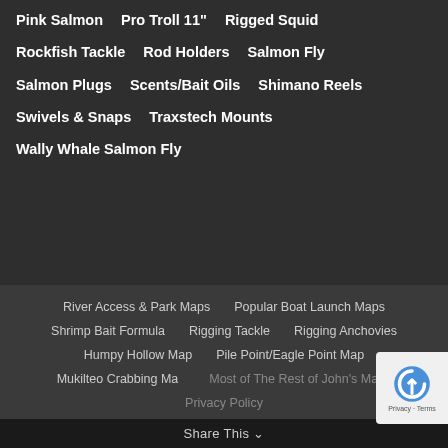Pink Salmon
Pro Troll 11"
Rigged Squid
Rockfish Tackle
Rod Holders
Salmon Fly
Salmon Plugs
Scents/Bait Oils
Shimano Reels
Swivels & Snaps
Traxstech Mounts
Wally Whale Salmon Fly
River Access & Park Maps | Popular Boat Launch Maps | Shrimp Bait Formula | Rigging Tackle | Rigging Anchovies | Humpy Hollow Map | Pile Point/Eagle Point Map | Mukilteo Crabbing Map | Most of The Rest of John's Maps | Privacy Policy
Share This